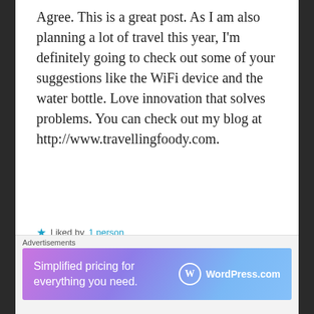Agree. This is a great post. As I am also planning a lot of travel this year, I'm definitely going to check out some of your suggestions like the WiFi device and the water bottle. Love innovation that solves problems. You can check out my blog at http://www.travellingfoody.com.
Liked by 1 person
Reply →
LOVESHETRAVELS
Advertisements
[Figure (other): WordPress.com advertisement banner with gradient purple-blue background. Text reads 'Simplified pricing for everything you need.' with WordPress.com logo on the right.]